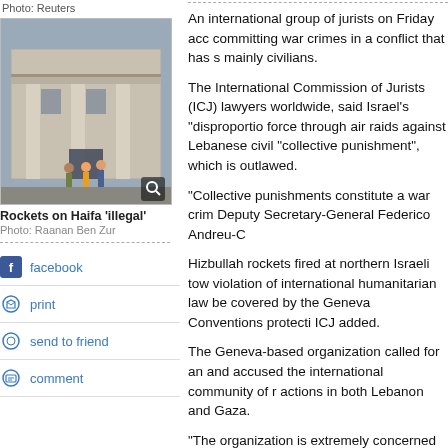Photo: Reuters
[Figure (photo): Damaged building entrance with people standing near it, Haifa]
Rockets on Haifa 'illegal'
Photo: Raanan Ben Zur
facebook
print
send to friend
comment
An international group of jurists on Friday acc committing war crimes in a conflict that has s mainly civilians.
The International Commission of Jurists (ICJ) lawyers worldwide, said Israel's "disproportio force through air raids against Lebanese civil "collective punishment", which is outlawed.
"Collective punishments constitute a war crim Deputy Secretary-General Federico Andreu-C
Hizbullah rockets fired at northern Israeli tow violation of international humanitarian law be covered by the Geneva Conventions protecti ICJ added.
The Geneva-based organization called for an and accused the international community of r actions in both Lebanon and Gaza.
"The organization is extremely concerned by community and the inactivity of key governme military actions," it said.
In recent days both the United Nations' High